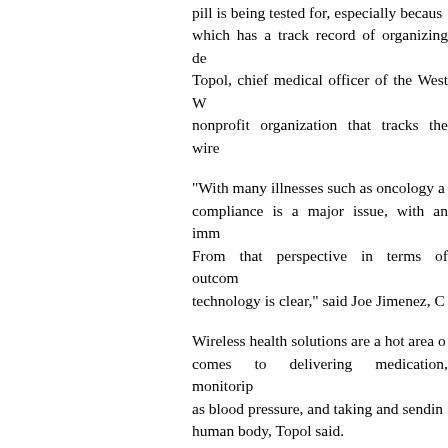pill is being tested for, especially because which has a track record of organizing de Topol, chief medical officer of the West W nonprofit organization that tracks the wire
"With many illnesses such as oncology a compliance is a major issue, with an imm From that perspective in terms of outcom technology is clear," said Joe Jimenez, C
Wireless health solutions are a hot area comes to delivering medication, monitori as blood pressure, and taking and sendin human body, Topol said.
"It's where there's more going on in innov perhaps any other area," he said.
Other companies are also looking into mi medication devices.
MicroCHIPS Inc. in Bedford, Massachuse such as a long-term implanted glucose m measurements for diabetics. There is als